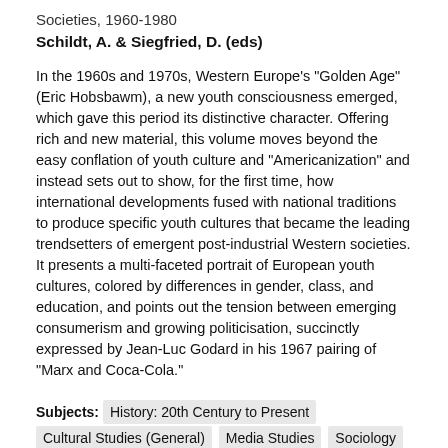Societies, 1960-1980
Schildt, A. & Siegfried, D. (eds)
In the 1960s and 1970s, Western Europe's "Golden Age" (Eric Hobsbawm), a new youth consciousness emerged, which gave this period its distinctive character. Offering rich and new material, this volume moves beyond the easy conflation of youth culture and "Americanization" and instead sets out to show, for the first time, how international developments fused with national traditions to produce specific youth cultures that became the leading trendsetters of emergent post-industrial Western societies. It presents a multi-faceted portrait of European youth cultures, colored by differences in gender, class, and education, and points out the tension between emerging consumerism and growing politicisation, succinctly expressed by Jean-Luc Godard in his 1967 pairing of "Marx and Coca-Cola."
Subjects: History: 20th Century to Present  Cultural Studies (General)  Media Studies  Sociology